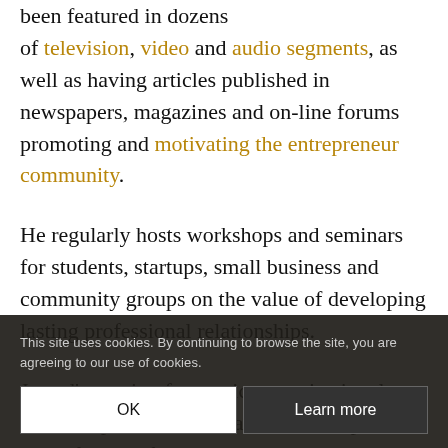been featured in dozens of television, video and audio segments, as well as having articles published in newspapers, magazines and on-line forums promoting and motivating the entrepreneur community.
He regularly hosts workshops and seminars for students, startups, small business and community groups on the value of developing lasting professional relationships.
Jarrod's passion for music, organizational abilities, public relation and leadership skills make for a perfect combination in creating not only Sax Appeal also eSAX (The Entrepreneur Advantage Experience) – entrepreneur networking community for small business.
This site uses cookies. By continuing to browse the site, you are agreeing to our use of cookies.